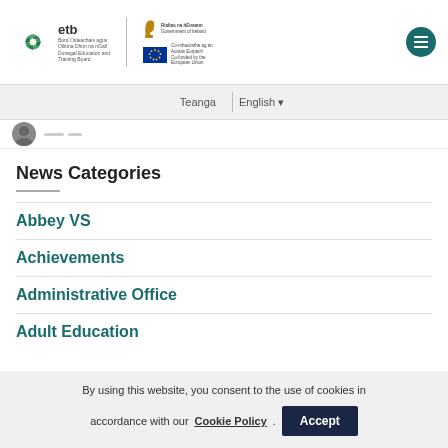[Figure (logo): ETB (Donegal Education and Training Board) logo with pinwheel graphic, plus Government of Ireland harp logo and EU co-funded flag]
Teanga | English
[Figure (photo): Small circular avatar image with placeholder lines]
News Categories
Abbey VS
Achievements
Administrative Office
Adult Education
By using this website, you consent to the use of cookies in accordance with our Cookie Policy . Accept